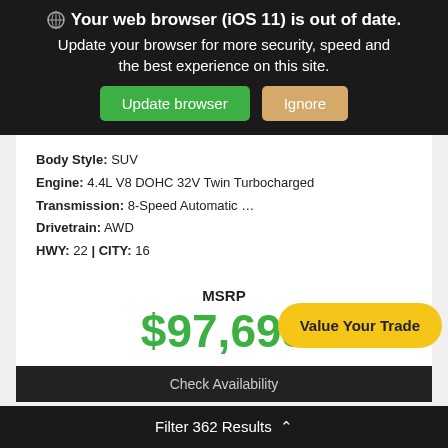Your web browser (iOS 11) is out of date. Update your browser for more security, speed and the best experience on this site. Update browser | Ignore
Body Style: SUV
Engine: 4.4L V8 DOHC 32V Twin Turbocharged
Transmission: 8-Speed Automatic …
Drivetrain: AWD
HWY: 22 | CITY: 16
MSRP
$97,695
Value Your Trade
Check Availability
Filter 362 Results ^